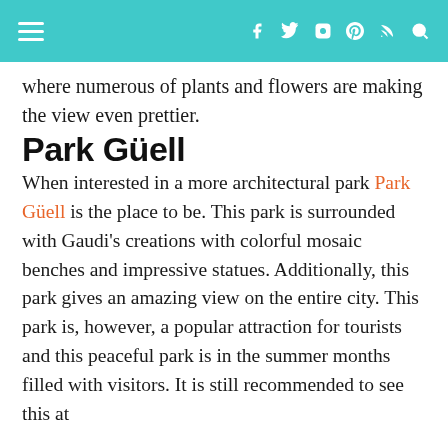Navigation bar with hamburger menu and social icons (Facebook, Twitter, Instagram, Pinterest, RSS, Search)
where numerous of plants and flowers are making the view even prettier.
Park Güell
When interested in a more architectural park Park Güell is the place to be. This park is surrounded with Gaudi's creations with colorful mosaic benches and impressive statues. Additionally, this park gives an amazing view on the entire city. This park is, however, a popular attraction for tourists and this peaceful park is in the summer months filled with visitors. It is still recommended to see this at